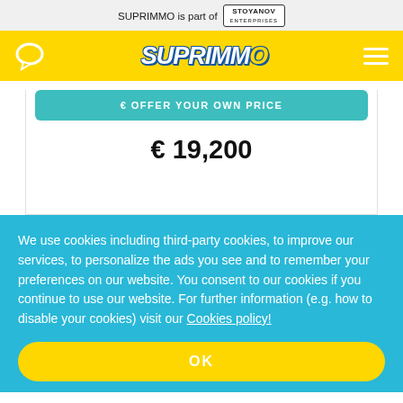SUPRIMMO is part of STOYANOV ENTERPRISES
[Figure (logo): SUPRIMMO logo in yellow navigation bar with chat icon and hamburger menu]
€ OFFER YOUR OWN PRICE
€ 19,200
We use cookies including third-party cookies, to improve our services, to personalize the ads you see and to remember your preferences on our website. You consent to our cookies if you continue to use our website. For further information (e.g. how to disable your cookies) visit our Cookies policy!
OK